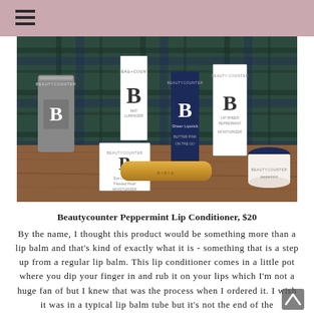≡
[Figure (photo): Photo of multiple Beautycounter branded beauty products arranged on a wooden surface with a plaid fabric background. Products include tubes, boxes, a small pot/jar, and lipstick in navy and white packaging with a large B logo.]
Beautycounter Peppermint Lip Conditioner, $20
By the name, I thought this product would be something more than a lip balm and that's kind of exactly what it is - something that is a step up from a regular lip balm. This lip conditioner comes in a little pot where you dip your finger in and rub it on your lips which I'm not a huge fan of but I knew that was the process when I ordered it. I wish it was in a typical lip balm tube but it's not the end of the